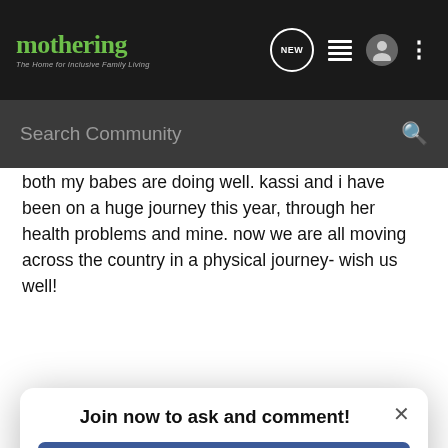[Figure (screenshot): Mothering website header with logo, navigation icons (NEW bubble, list icon, user icon, dots menu), and search bar]
both my babes are doing well. kassi and i have been on a huge journey this year, through her health problems and mine. now we are all moving across the country in a physical journey- wish us well!
i m
h
h
lo
[Figure (screenshot): Modal dialog: 'Join now to ask and comment!' with Continue with Facebook button, Continue with Google button, and 'or sign up with email' link, plus close X button]
Hi, I'm Tabitha. I'm a homeschooling mother of five: ds (13) dd (11) ds (9) ds (7) and dd (2) Find me at http://www.omelay.blogspot.com
Reply  Quote